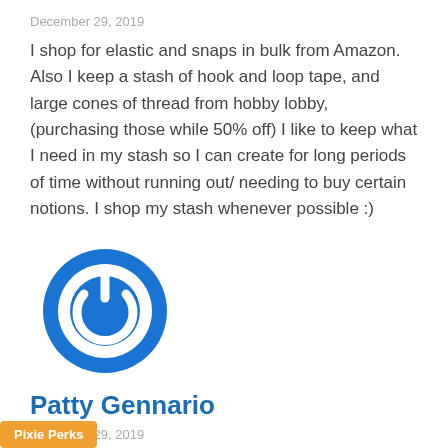December 29, 2019
I shop for elastic and snaps in bulk from Amazon. Also I keep a stash of hook and loop tape, and large cones of thread from hobby lobby, (purchasing those while 50% off) I like to keep what I need in my stash so I can create for long periods of time without running out/ needing to buy certain notions. I shop my stash whenever possible :)
[Figure (logo): Blue circular power button icon/avatar]
Patty Gennario
December 29, 2019
...my fabric for doll clothes mostly in the
Pixie Perks